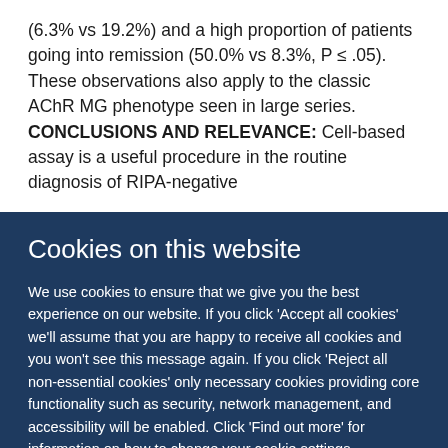(6.3% vs 19.2%) and a high proportion of patients going into remission (50.0% vs 8.3%, P ≤ .05). These observations also apply to the classic AChR MG phenotype seen in large series. CONCLUSIONS AND RELEVANCE: Cell-based assay is a useful procedure in the routine diagnosis of RIPA-negative
Cookies on this website
We use cookies to ensure that we give you the best experience on our website. If you click 'Accept all cookies' we'll assume that you are happy to receive all cookies and you won't see this message again. If you click 'Reject all non-essential cookies' only necessary cookies providing core functionality such as security, network management, and accessibility will be enabled. Click 'Find out more' for information on how to change your cookie settings.